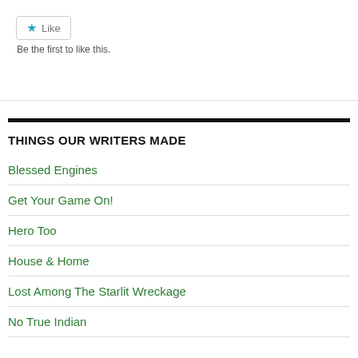[Figure (other): Like button widget with a blue star icon and 'Like' text, with 'Be the first to like this.' text below]
Be the first to like this.
THINGS OUR WRITERS MADE
Blessed Engines
Get Your Game On!
Hero Too
House & Home
Lost Among The Starlit Wreckage
No True Indian